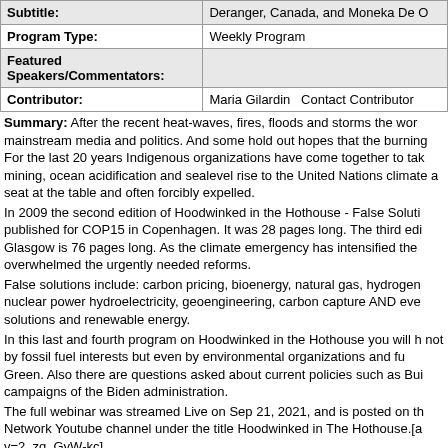| Field | Value |
| --- | --- |
| Subtitle: | Deranger, Canada, and Moneka De O |
| Program Type: | Weekly Program |
| Featured Speakers/Commentators: |  |
| Contributor: | Maria Gilardin  Contact Contributor |
Summary: After the recent heat-waves, fires, floods and storms the wor mainstream media and politics. And some hold out hopes that the burning For the last 20 years Indigenous organizations have come together to tak mining, ocean acidification and sealevel rise to the United Nations climate a seat at the table and often forcibly expelled. In 2009 the second edition of Hoodwinked in the Hothouse - False Soluti published for COP15 in Copenhagen. It was 28 pages long. The third edi Glasgow is 76 pages long. As the climate emergency has intensified the overwhelmed the urgently needed reforms. False solutions include: carbon pricing, bioenergy, natural gas, hydrogen nuclear power hydroelectricity, geoengineering, carbon capture AND eve solutions and renewable energy. In this last and fourth program on Hoodwinked in the Hothouse you will h not by fossil fuel interests but even by environmental organizations and fu Green. Also there are questions asked about current policies such as Bui campaigns of the Biden administration. The full webinar was streamed Live on Sep 21, 2021, and is posted on th Network Youtube channel under the title Hoodwinked in The Hothouse.[a v=2_zq_GyW-kc] They all value the free booklet: Hoodwinked in the Hothouse, RESIST FA CHANGE. It is a living document of decades of experience updated just r the climate conference in Glasgow. The 76 page pamphlet can be downl https:/climatefalsesolutions.org/
Credits: New School and IEN, Indigenous Environmental Network